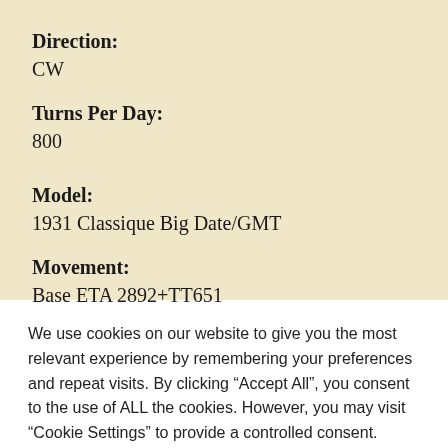Direction:
CW
Turns Per Day:
800
Model:
1931 Classique Big Date/GMT
Movement:
Base ETA 2892+TT651
We use cookies on our website to give you the most relevant experience by remembering your preferences and repeat visits. By clicking “Accept All”, you consent to the use of ALL the cookies. However, you may visit “Cookie Settings” to provide a controlled consent.